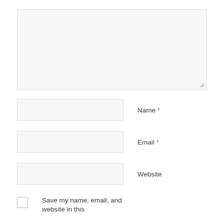[Figure (screenshot): Large textarea input box with resize handle at bottom right, light gray background]
Name *
Email *
Website
Save my name, email, and website in this